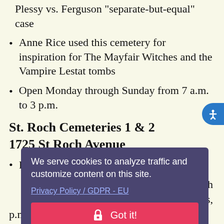Plessy vs. Ferguson "separate-but-equal" case
Anne Rice used this cemetery for inspiration for The Mayfair Witches and the Vampire Lestat tombs
Open Monday through Sunday from 7 a.m. to 3 p.m.
St. Roch Cemeteries 1 & 2
1725 St Roch Avenue
Parish founded in 1847
...lled with coins,
...morials
...a.m. to 3 p.m., and Sunday from 9 a.m. to 12 p.m.
We serve cookies to analyze traffic and customize content on this site.
Privacy Policy / GDPR - EU
Got it!